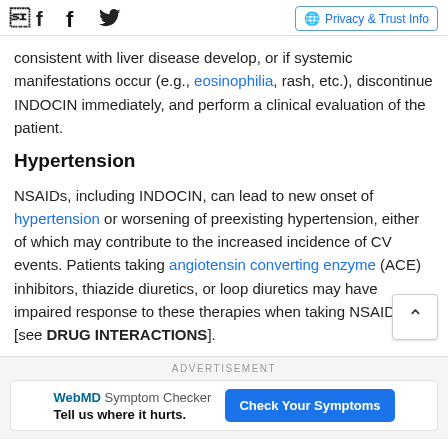Facebook Twitter Privacy & Trust Info
consistent with liver disease develop, or if systemic manifestations occur (e.g., eosinophilia, rash, etc.), discontinue INDOCIN immediately, and perform a clinical evaluation of the patient.
Hypertension
NSAIDs, including INDOCIN, can lead to new onset of hypertension or worsening of preexisting hypertension, either of which may contribute to the increased incidence of CV events. Patients taking angiotensin converting enzyme (ACE) inhibitors, thiazide diuretics, or loop diuretics may have impaired response to these therapies when taking NSAIDs [see DRUG INTERACTIONS].
ADVERTISEMENT
WebMD Symptom Checker Tell us where it hurts. Check Your Symptoms